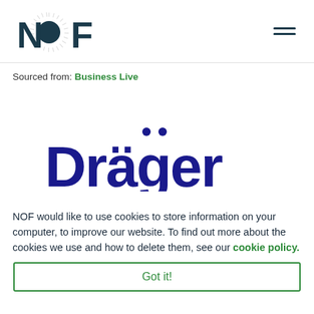NOF logo and navigation menu
Sourced from: Business Live
[Figure (logo): Dräger company logo in dark blue, partial/cropped]
NOF would like to use cookies to store information on your computer, to improve our website. To find out more about the cookies we use and how to delete them, see our cookie policy.
Got it!